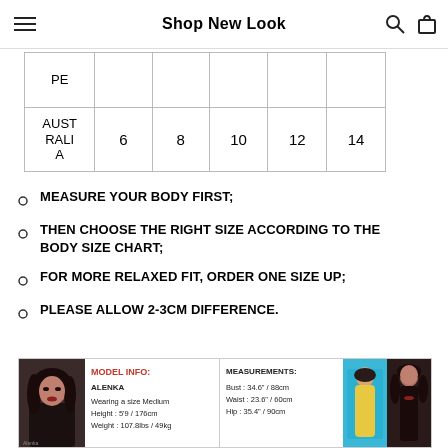Shop New Look
| PE |  |  |  |  |  |
| AUSTRALIA | 6 | 8 | 10 | 12 | 14 |
MEASURE YOUR BODY FIRST;
THEN CHOOSE THE RIGHT SIZE ACCORDING TO THE BODY SIZE CHART;
FOR MORE RELAXED FIT, ORDER ONE SIZE UP;
PLEASE ALLOW 2-3CM DIFFERENCE.
[Figure (infographic): Model info panel showing model Alenka wearing size Medium, Height 5'9"/176cm, Weight 107.8lbs/49kg, with measurements Bust 34.6"/88cm, Waist 23.6"/60cm, Hip 35.4"/90cm, alongside photos of models in yellow and black dresses.]